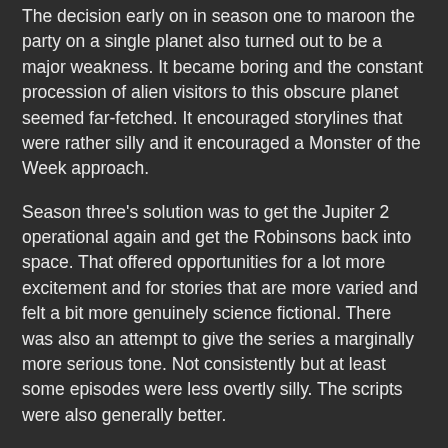The decision early on in season one to maroon the party on a single planet also turned out to be a major weakness. It became boring and the constant procession of alien visitors to this obscure planet seemed far-fetched. It encouraged storylines that were rather silly and it encouraged a Monster of the Week approach.
Season three's solution was to get the Jupiter 2 operational again and get the Robinsons back into space. That offered opportunities for a lot more excitement and for stories that are more varied and felt a bit more genuinely science fictional. There was also an attempt to give the series a marginally more serious tone. Not consistently but at least some episodes were less overtly silly. The scripts were also generally better.
There was still the problem that too many episodes were built almost exclusively around the Dr Smith-robot-Will trio. That problem was never solved. One obvious solution would have been a romance between Major West and Judy Robinson but Irwin Allen refused to consider this, feeling it was inappropriate in a kids' show. Which is odd since it always seemed fairly obvious that Judy was included in the